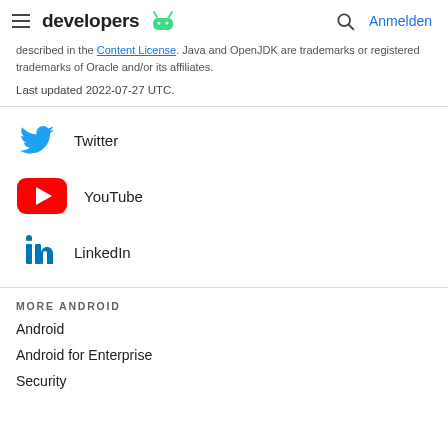developers | Anmelden
described in the Content License. Java and OpenJDK are trademarks or registered trademarks of Oracle and/or its affiliates.
Last updated 2022-07-27 UTC.
Twitter
YouTube
LinkedIn
MORE ANDROID
Android
Android for Enterprise
Security